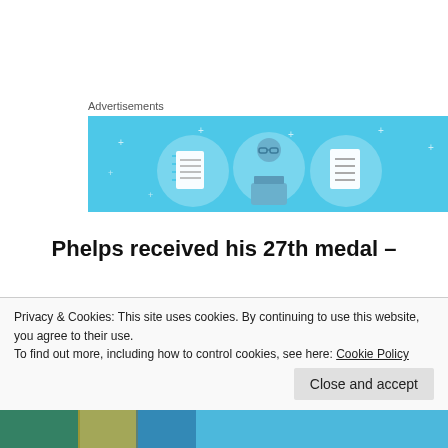Advertisements
[Figure (illustration): Advertisement banner with light blue background showing three circular icons: a notebook, a person with glasses, and a document list]
Phelps received his 27th medal –
but it was in a three-way tie for the Silver
while Schooling beat his idol for the Gold
[Figure (photo): Photo of swimmers at what appears to be an Olympic event]
Privacy & Cookies: This site uses cookies. By continuing to use this website, you agree to their use.
To find out more, including how to control cookies, see here: Cookie Policy
Close and accept